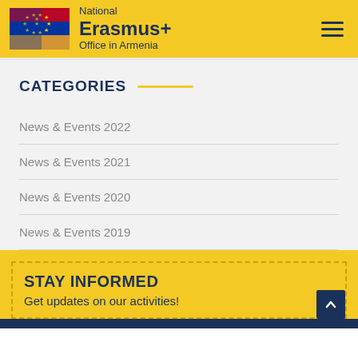[Figure (logo): National Erasmus+ Office in Armenia header with EU/Armenia flag logo, yellow background, and hamburger menu icon]
CATEGORIES
News & Events 2022
News & Events 2021
News & Events 2020
News & Events 2019
STAY INFORMED
Get updates on our activities!